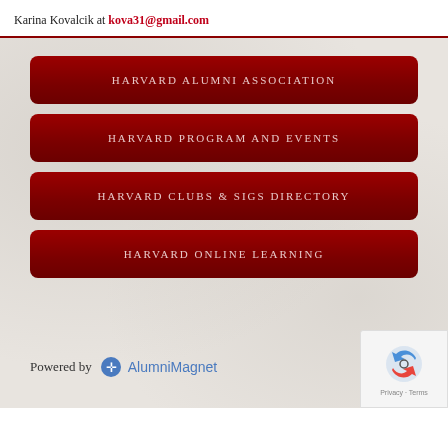Karina Kovalcik at kova31@gmail.com
HARVARD ALUMNI ASSOCIATION
HARVARD PROGRAM AND EVENTS
HARVARD CLUBS & SIGS DIRECTORY
HARVARD ONLINE LEARNING
Powered by AlumniMagnet
[Figure (logo): reCAPTCHA logo with Privacy and Terms text]